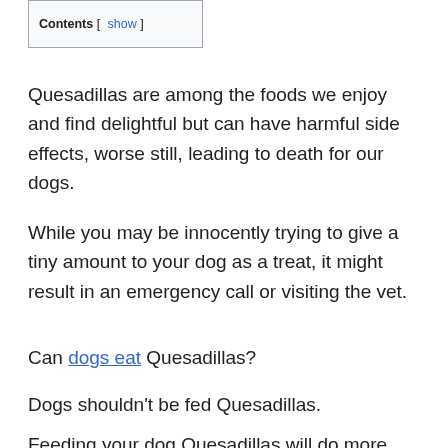Contents [ show ]
Quesadillas are among the foods we enjoy and find delightful but can have harmful side effects, worse still, leading to death for our dogs.
While you may be innocently trying to give a tiny amount to your dog as a treat, it might result in an emergency call or visiting the vet.
Can dogs eat Quesadillas?
Dogs shouldn't be fed Quesadillas.
Feeding your dog Quesadillas will do more harm than